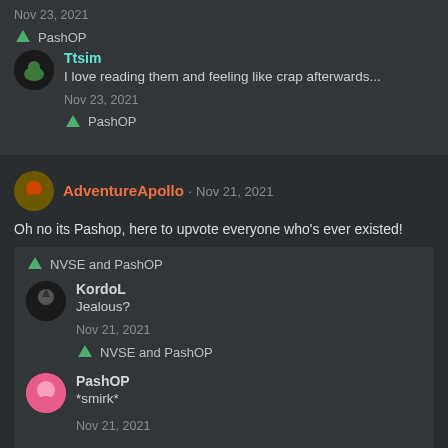Nov 23, 2021
PashOP
Ttsim
I love reading them and feeling like crap afterwards...
Nov 23, 2021
PashOP
AdventureApollo · Nov 21, 2021
Oh no its Pashop, here to upvote everyone who's ever existed!
NVSE and PashOP
KordoL
Jealous?
Nov 21, 2021
NVSE and PashOP
PashOP
*smirk*
Nov 21, 2021